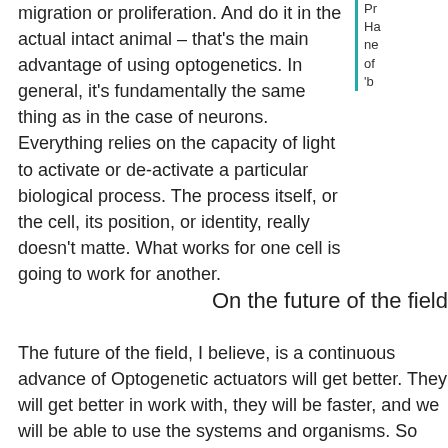migration or proliferation. And do it in the actual intact animal – that's the main advantage of using optogenetics. In general, it's fundamentally the same thing as in the case of neurons. Everything relies on the capacity of light to activate or de-activate a particular biological process. The process itself, or the cell, its position, or identity, really doesn't matter. What works for one cell is going to work for another.
Pr Ha ne of 'b
On the future of the field
The future of the field, I believe, is a continuous advance of Optogenetic actuators will get better. They will get better in work with, they will be faster, and we will be able to use the systems and organisms. So that's one aspect of the field th use the word, a 'bright' future. The other aspect that has an going to be more challenging and slower, is the application is not much done in that field, at least, not much success re